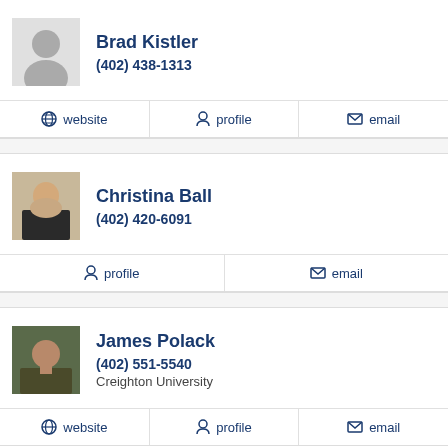Brad Kistler
(402) 438-1313
website | profile | email
Christina Ball
(402) 420-6091
profile | email
James Polack
(402) 551-5540
Creighton University
website | profile | email